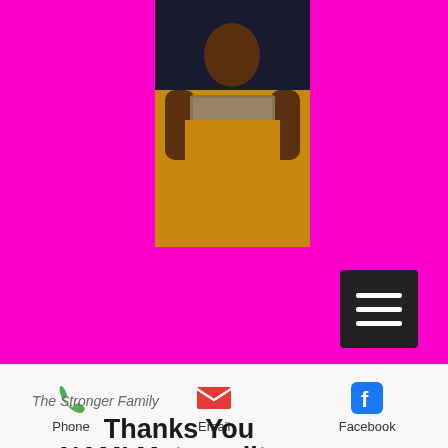[Figure (photo): Person wearing yellow/mustard outfit holding a book, photographed against a dark top and magenta background]
[Figure (screenshot): Hamburger menu button (three horizontal lines) on dark background]
The Stronger Family
Thanks You NAMI Metropolitan Baltimore
[Figure (photo): Person smiling and holding a shirt that reads 'B'More Kid', seated indoors, displayed within concentric circle design on beige card]
Phone   Email   Facebook